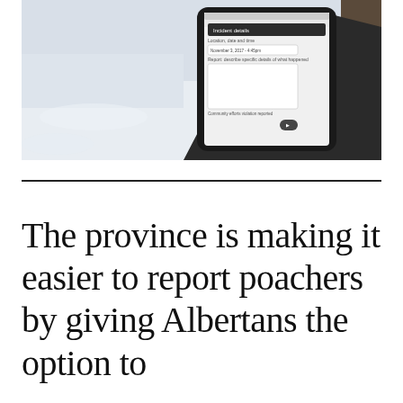[Figure (photo): A hand holding a smartphone displaying a form app with fields for incident details including location, date and time, and a report description field. The background shows snow and a dark tree trunk. The phone has a dark case.]
The province is making it easier to report poachers by giving Albertans the option to